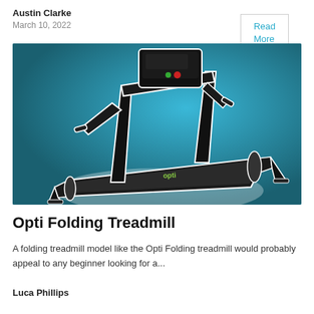Austin Clarke
March 10, 2022
Read More
[Figure (photo): A black folding treadmill with handlebars and a digital display console, shown against a teal/blue background]
Opti Folding Treadmill
A folding treadmill model like the Opti Folding treadmill would probably appeal to any beginner looking for a...
Luca Phillips
Read More